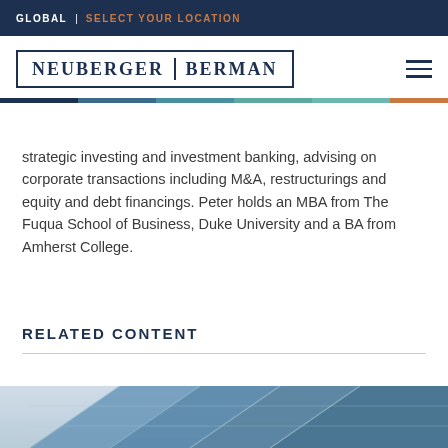GLOBAL | SELECT YOUR LOCATION
[Figure (logo): Neuberger Berman logo with text in bordered box]
strategic investing and investment banking, advising on corporate transactions including M&A, restructurings and equity and debt financings. Peter holds an MBA from The Fuqua School of Business, Duke University and a BA from Amherst College.
RELATED CONTENT
[Figure (photo): Architectural photograph showing geometric glass building facade with blue tones]